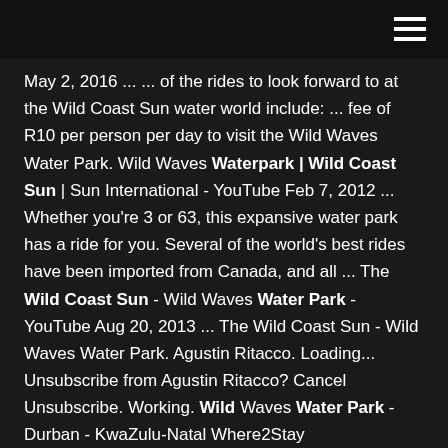hamburger menu icon
May 2, 2016 ... ... of the rides to look forward to at the Wild Coast Sun water world include: ... fee of R10 per person per day to visit the Wild Waves Water Park. Wild Waves Waterpark | Wild Coast Sun | Sun International - YouTube Feb 7, 2012 ... Whether you're 3 or 63, this expansive water park has a ride for you. Several of the world's best rides have been imported from Canada, and all ... The Wild Coast Sun - Wild Waves Water Park - YouTube Aug 20, 2013 ... The Wild Coast Sun - Wild Waves Water Park. Agustin Ritacco. Loading... Unsubscribe from Agustin Ritacco? Cancel Unsubscribe. Working. Wild Waves Water Park - Durban - KwaZulu-Natal Where2Stay
Wet'n Wild is one of the seven